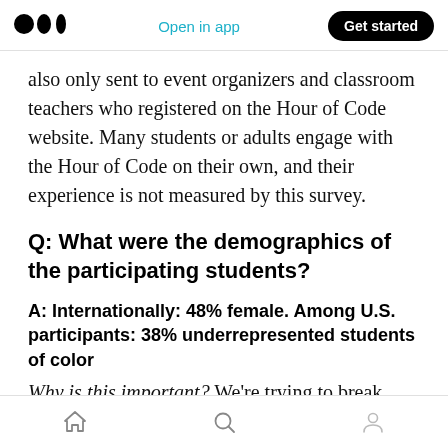Medium logo | Open in app | Get started
also only sent to event organizers and classroom teachers who registered on the Hour of Code website. Many students or adults engage with the Hour of Code on their own, and their experience is not measured by this survey.
Q: What were the demographics of the participating students?
A: Internationally: 48% female. Among U.S. participants: 38% underrepresented students of color
Why is this important? We're trying to break stereotypes that limit participation in computer
Home | Search | Profile